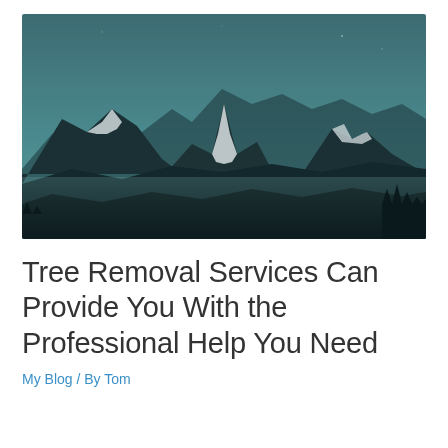[Figure (photo): Photograph of snow-capped mountain peaks against a dark teal/blue sky, with misty valleys below and dark foreground terrain. Three prominent peaks visible with the tallest in the center.]
Tree Removal Services Can Provide You With the Professional Help You Need
My Blog / By Tom